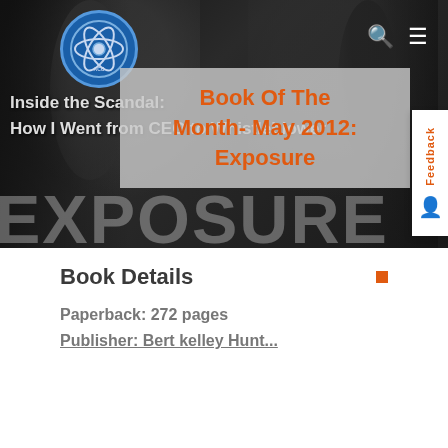[Figure (screenshot): Hero banner with dark background showing blurred people silhouettes, a circular logo for Allied Compliance Consultants (ACC), navigation icons (search and hamburger menu), background text 'Inside the Scandal: How I Went from CEO to Whistleblower', large faded 'EXPOSURE' text at bottom, a semi-transparent overlay box with the page title in orange, and a Feedback tab on the right side.]
Book Of The Month- May 2012: Exposure
Book Details
Paperback: 272 pages
Publisher: Bert kelley Hunt...